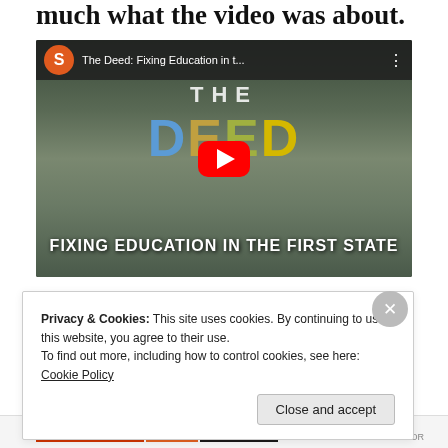much what the video was about.
[Figure (screenshot): YouTube video thumbnail for 'The Deed: Fixing Education in t...' showing aerial view of a city with colorful block letters spelling THE DEED and subtitle FIXING EDUCATION IN THE FIRST STATE, with a YouTube play button in the center.]
Privacy & Cookies: This site uses cookies. By continuing to use this website, you agree to their use.
To find out more, including how to control cookies, see here: Cookie Policy
Close and accept